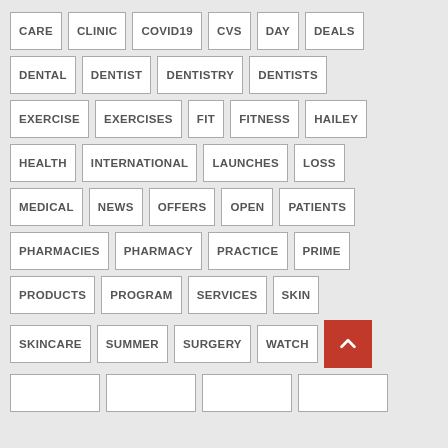CARE
CLINIC
COVID19
CVS
DAY
DEALS
DENTAL
DENTIST
DENTISTRY
DENTISTS
EXERCISE
EXERCISES
FIT
FITNESS
HAILEY
HEALTH
INTERNATIONAL
LAUNCHES
LOSS
MEDICAL
NEWS
OFFERS
OPEN
PATIENTS
PHARMACIES
PHARMACY
PRACTICE
PRIME
PRODUCTS
PROGRAM
SERVICES
SKIN
SKINCARE
SUMMER
SURGERY
WATCH